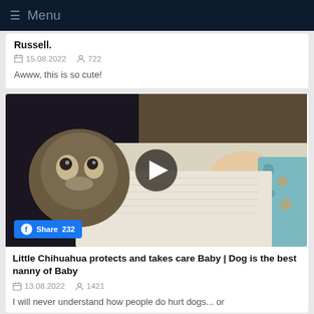≡ Menu
Russell.
15.08.2022   722
Awww, this is so cute!
[Figure (photo): A small Chihuahua dog lying next to a sleeping newborn baby wrapped in a white blanket. A Facebook share button showing 232 shares is overlaid at the bottom left. A video play button is centered on the image.]
Little Chihuahua protects and takes care Baby | Dog is the best nanny of Baby
13.08.2022   1421
I will never understand how people do hurt dogs... or